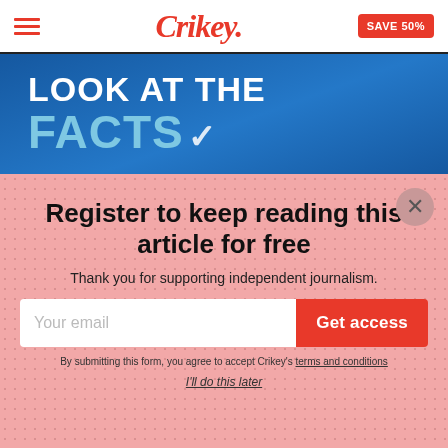Crikey. SAVE 50%
[Figure (illustration): Blue banner with white bold text 'LOOK AT THE' and light blue bold text 'FACTS' with a checkmark]
Register to keep reading this article for free
Thank you for supporting independent journalism.
Your email  Get access
By submitting this form, you agree to accept Crikey’s terms and conditions
I’ll do this later